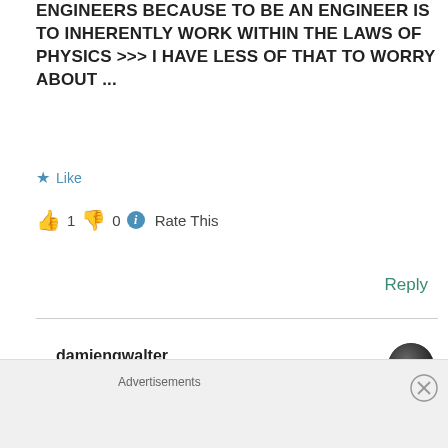ENGINEERS BECAUSE TO BE AN ENGINEER IS TO INHERENTLY WORK WITHIN THE LAWS OF PHYSICS >>> I HAVE LESS OF THAT TO WORRY ABOUT ...
★ Like
👍 1 👎 0 ℹ Rate This
Reply
damiengwalter
July 7, 2014 at 6:53 pm
Advertisements